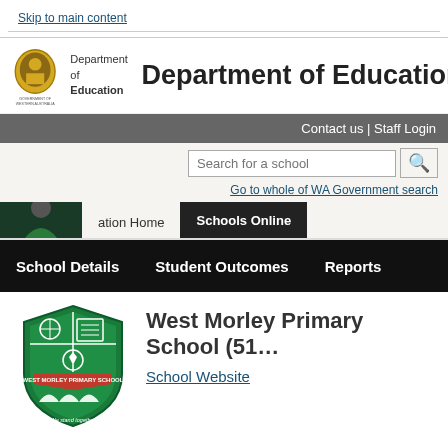Skip to main content
Department of Education
Contact us | Staff Login
Search for a school
Go to whole of WA Government search
ation Home | Schools Online
School Details | Student Outcomes | Reports
[Figure (logo): West Morley Primary School shield logo with motto 'We stand together']
West Morley Primary School (51...)
School Website
School Overview